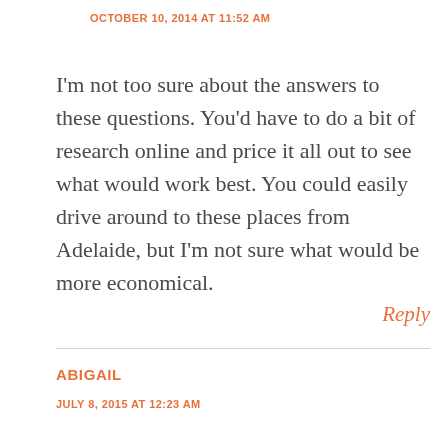OCTOBER 10, 2014 AT 11:52 AM
I'm not too sure about the answers to these questions. You'd have to do a bit of research online and price it all out to see what would work best. You could easily drive around to these places from Adelaide, but I'm not sure what would be more economical.
Reply
ABIGAIL
JULY 8, 2015 AT 12:23 AM